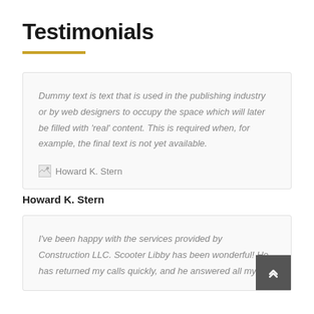Testimonials
Dummy text is text that is used in the publishing industry or by web designers to occupy the space which will later be filled with 'real' content. This is required when, for example, the final text is not yet available.
Howard K. Stern
Howard K. Stern
I've been happy with the services provided by Construction LLC. Scooter Libby has been wonderful! He has returned my calls quickly, and he answered all my